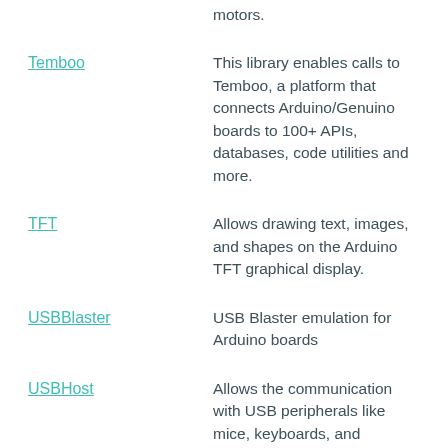control a variety of stepper motors.
Temboo — This library enables calls to Temboo, a platform that connects Arduino/Genuino boards to 100+ APIs, databases, code utilities and more.
TFT — Allows drawing text, images, and shapes on the Arduino TFT graphical display.
USBBlaster — USB Blaster emulation for Arduino boards
USBHost — Allows the communication with USB peripherals like mice, keyboards, and thumbdrives.
VidorGraphics — Provides graphical